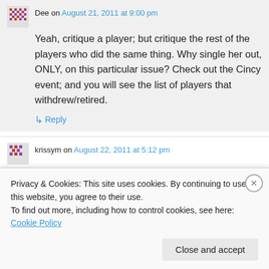Dee on August 21, 2011 at 9:00 pm
Yeah, critique a player; but critique the rest of the players who did the same thing. Why single her out, ONLY, on this particular issue? Check out the Cincy event; and you will see the list of players that withdrew/retired.
↳ Reply
krissym on August 22, 2011 at 5:12 pm
Privacy & Cookies: This site uses cookies. By continuing to use this website, you agree to their use.
To find out more, including how to control cookies, see here: Cookie Policy
Close and accept